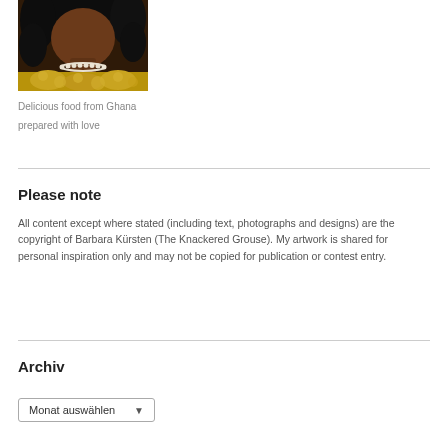[Figure (photo): Partial photo showing a woman with curly black hair wearing a pearl necklace and a golden/floral dress top, cropped to show neck/chest area.]
Delicious food from Ghana prepared with love
Please note
All content except where stated (including text, photographs and designs) are the copyright of Barbara Kürsten (The Knackered Grouse). My artwork is shared for personal inspiration only and may not be copied for publication or contest entry.
Archiv
Monat auswählen